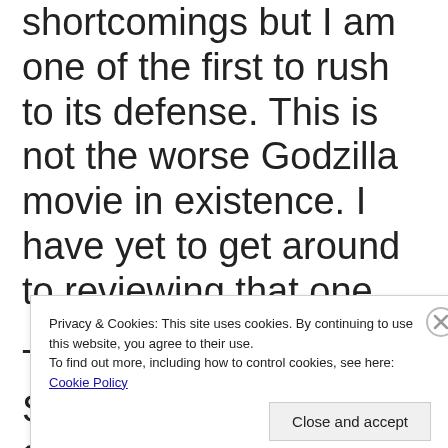shortcomings but I am one of the first to rush to its defense. This is not the worse Godzilla movie in existence. I have yet to get around to reviewing that one.
The lost civilization of Seatopia, which disappeared underground
Privacy & Cookies: This site uses cookies. By continuing to use this website, you agree to their use.
To find out more, including how to control cookies, see here: Cookie Policy